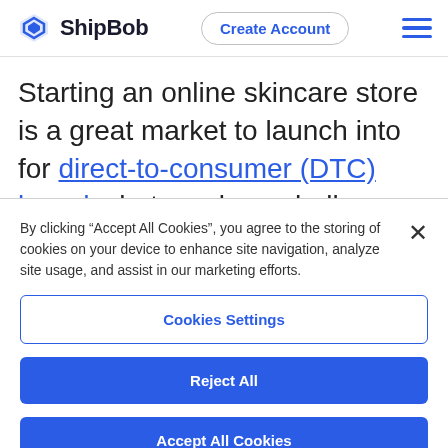ShipBob | Create Account
Starting an online skincare store is a great market to launch into for direct-to-consumer (DTC) brands, but can be a challenge to beat the competition. Not only will you have to compete with more established heal
By clicking “Accept All Cookies”, you agree to the storing of cookies on your device to enhance site navigation, analyze site usage, and assist in our marketing efforts.
Cookies Settings
Reject All
Accept All Cookies